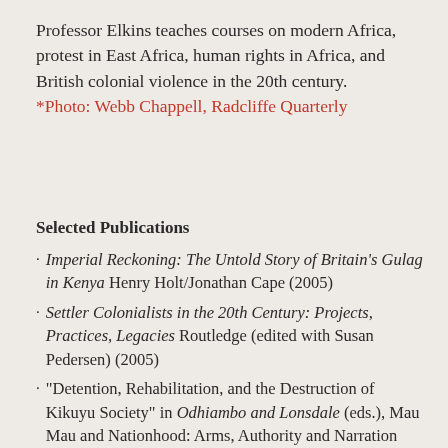Professor Elkins teaches courses on modern Africa, protest in East Africa, human rights in Africa, and British colonial violence in the 20th century. *Photo: Webb Chappell, Radcliffe Quarterly
Selected Publications
Imperial Reckoning: The Untold Story of Britain's Gulag in Kenya Henry Holt/Jonathan Cape (2005)
Settler Colonialists in the 20th Century: Projects, Practices, Legacies Routledge (edited with Susan Pedersen) (2005)
"Detention, Rehabilitation, and the Destruction of Kikuyu Society" in Odhiambo and Lonsdale (eds.), Mau Mau and Nationhood: Arms, Authority and Narration Oxford: James Currey, pp. 191-226 (2003)